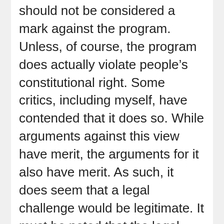should not be considered a mark against the program. Unless, of course, the program does actually violate people's constitutional right. Some critics, including myself, have contended that it does so. While arguments against this view have merit, the arguments for it also have merit. As such, it does seem that a legal challenge would be legitimate. It must be noted that the legal cost would probably be a one time cost, incurred until the matter is settled. If it is settled in favor of the program, the long term savings might eventually offset the legal costs.
Even if the program did not save money, it could be argued for on moral grounds: the